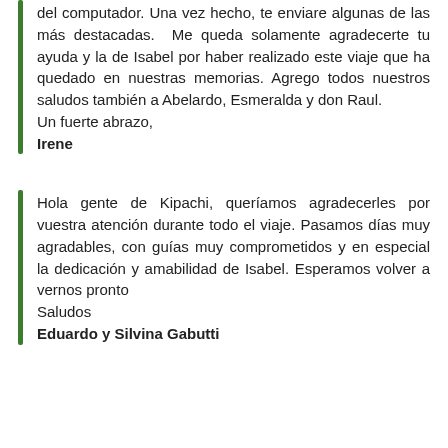del computador. Una vez hecho, te enviare algunas de las más destacadas. Me queda solamente agradecerte tu ayuda y la de Isabel por haber realizado este viaje que ha quedado en nuestras memorias. Agrego todos nuestros saludos también a Abelardo, Esmeralda y don Raul.
Un fuerte abrazo,
Irene
Hola gente de Kipachi, queríamos agradecerles por vuestra atención durante todo el viaje. Pasamos días muy agradables, con guías muy comprometidos y en especial la dedicación y amabilidad de Isabel. Esperamos volver a vernos pronto
Saludos
Eduardo y Silvina Gabutti